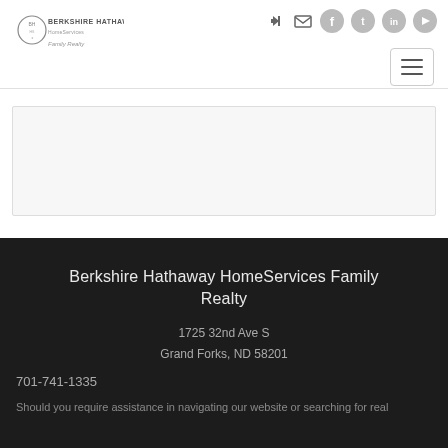[Figure (logo): Berkshire Hathaway HomeServices Family Realty logo with circular shield emblem]
[Figure (other): Navigation bar with social media icons (login, email, Facebook, Twitter, LinkedIn, YouTube) and hamburger menu button]
[Figure (other): Light gray content/banner placeholder box with border]
Berkshire Hathaway HomeServices Family Realty
1725 32nd Ave S
Grand Forks, ND 58201
701-741-1335
Should you require assistance in navigating our website or searching for real